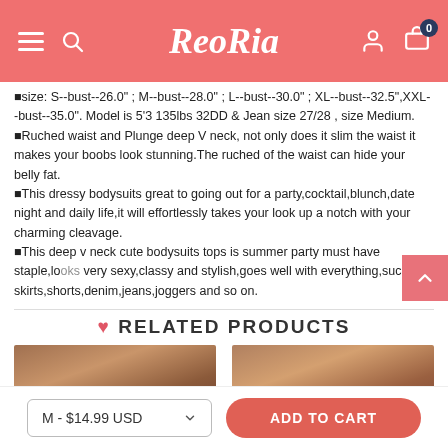ReoRia
■size: S--bust--26.0" ; M--bust--28.0" ; L--bust--30.0" ; XL--bust--32.5",XXL--bust--35.0". Model is 5'3 135lbs 32DD & Jean size 27/28 , size Medium. ■Ruched waist and Plunge deep V neck, not only does it slim the waist it makes your boobs look stunning.The ruched of the waist can hide your belly fat. ■This dressy bodysuits great to going out for a party,cocktail,blunch,date night and daily life,it will effortlessly takes your look up a notch with your charming cleavage. ■This deep v neck cute bodysuits tops is summer party must have staple,looks very sexy,classy and stylish,goes well with everything,such as skirts,shorts,denim,jeans,joggers and so on.
♥ RELATED PRODUCTS
[Figure (photo): Two product thumbnail photos of women wearing clothing]
M - $14.99 USD
ADD TO CART